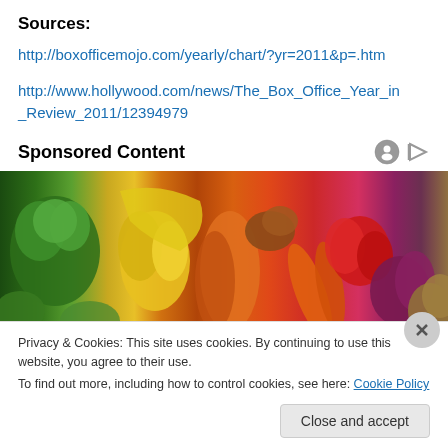Sources:
http://boxofficemojo.com/yearly/chart/?yr=2011&p=.htm
http://www.hollywood.com/news/The_Box_Office_Year_in_Review_2011/12394979
Sponsored Content
[Figure (photo): Colorful arrangement of fresh vegetables and fruits including broccoli, yellow peppers, bananas, papaya, carrots, strawberries, red cabbage, and potatoes]
Privacy & Cookies: This site uses cookies. By continuing to use this website, you agree to their use.
To find out more, including how to control cookies, see here: Cookie Policy
Close and accept